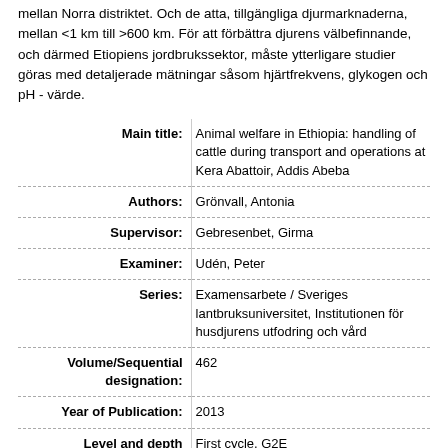mellan Norra distriktet. Och de atta, tillgängliga djurmarknaderna, mellan <1 km till >600 km. För att förbättra djurens välbefinnande, och därmed Etiopiens jordbrukssektor, måste ytterligare studier göras med detaljerade mätningar såsom hjärtfrekvens, glykogen och pH - värde.
| Label | Value |
| --- | --- |
| Main title: | Animal welfare in Ethiopia: handling of cattle during transport and operations at Kera Abattoir, Addis Abeba |
| Authors: | Grönvall, Antonia |
| Supervisor: | Gebresenbet, Girma |
| Examiner: | Udén, Peter |
| Series: | Examensarbete / Sveriges lantbruksuniversitet, Institutionen för husdjurens utfodring och vård |
| Volume/Sequential designation: | 462 |
| Year of Publication: | 2013 |
| Level and depth descriptor: | First cycle, G2E |
| Student's | VY001 Agricultural Science |